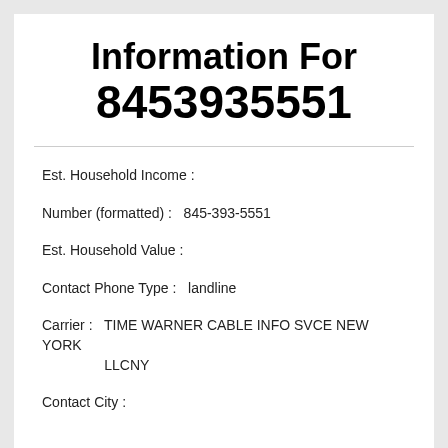Information For 8453935551
Est. Household Income :
Number (formatted) :  845-393-5551
Est. Household Value :
Contact Phone Type :  landline
Carrier :  TIME WARNER CABLE INFO SVCE NEW YORK LLCNY
Contact City :